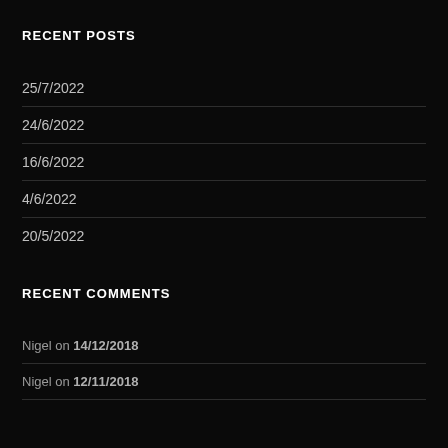RECENT POSTS
25/7/2022
24/6/2022
16/6/2022
4/6/2022
20/5/2022
RECENT COMMENTS
Nigel on 14/12/2018
Nigel on 12/11/2018